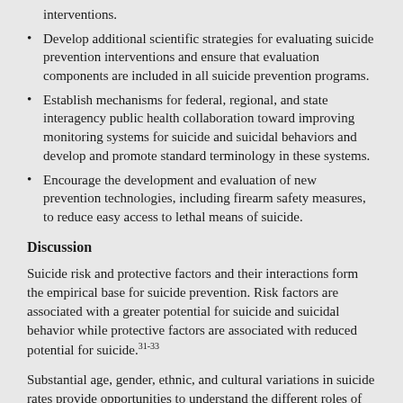interventions.
Develop additional scientific strategies for evaluating suicide prevention interventions and ensure that evaluation components are included in all suicide prevention programs.
Establish mechanisms for federal, regional, and state interagency public health collaboration toward improving monitoring systems for suicide and suicidal behaviors and develop and promote standard terminology in these systems.
Encourage the development and evaluation of new prevention technologies, including firearm safety measures, to reduce easy access to lethal means of suicide.
Discussion
Suicide risk and protective factors and their interactions form the empirical base for suicide prevention. Risk factors are associated with a greater potential for suicide and suicidal behavior while protective factors are associated with reduced potential for suicide.31-33
Substantial age, gender, ethnic, and cultural variations in suicide rates provide opportunities to understand the different roles of risk and protective factors among these groups. Risk and protective factors encompass genetic, neurobiological, psychological, social, and cultural characteristics of individuals and groups and